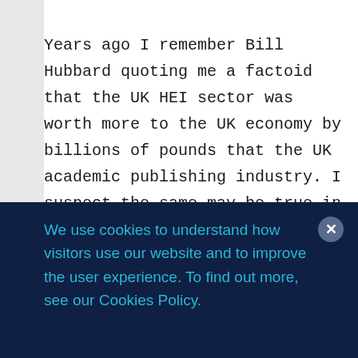Years ago I remember Bill Hubbard quoting me a factoid that the UK HEI sector was worth more to the UK economy by billions of pounds that the UK academic publishing industry. I suspect the same may be true in the states, so perhaps this is the rousing of the sleeping giant, no longer willing to passively accede to the publishers' dominion over them. Will Yale or Harvard or other Ivy League institutions
We use cookies to understand how visitors use our website and to improve the user experience. To find out more, see our Cookies Policy.